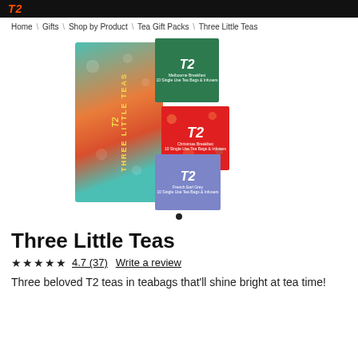T2
Home \ Gifts \ Shop by Product \ Tea Gift Packs \ Three Little Teas
[Figure (photo): Product photo of T2 Three Little Teas gift pack showing a tall colorful patterned box labeled 'T2 THREE LITTLE TEAS' alongside three small tea boxes: a green box (Melbourne Breakfast), a red box (Christmas Breakfast), and a blue/purple box (French Earl Grey)]
Three Little Teas
★★★★★  4.7 (37)  Write a review
Three beloved T2 teas in teabags that'll shine bright at tea time!